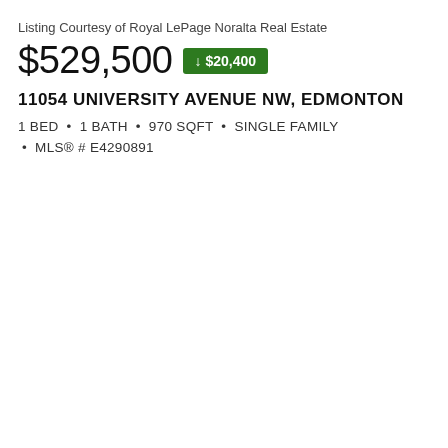Listing Courtesy of Royal LePage Noralta Real Estate
$529,500 ↓ $20,400
11054 UNIVERSITY AVENUE NW, EDMONTON
1 BED • 1 BATH • 970 SQFT • SINGLE FAMILY
• MLS® # E4290891